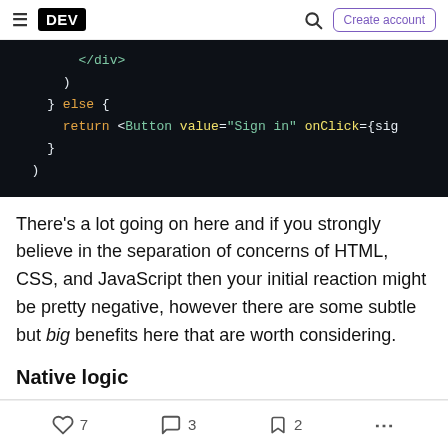DEV | Create account
[Figure (screenshot): Code block on dark background showing JSX/React code: </div>, ), } else {, return <Button value="Sign in" onClick={sig}, }, )]
There's a lot going on here and if you strongly believe in the separation of concerns of HTML, CSS, and JavaScript then your initial reaction might be pretty negative, however there are some subtle but big benefits here that are worth considering.
Native logic
7 likes, 3 comments, 2 bookmarks